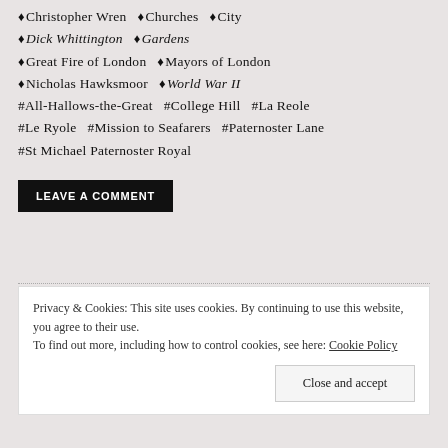♦Christopher Wren  ♦Churches  ♦City
♦Dick Whittington  ♦Gardens
♦Great Fire of London  ♦Mayors of London
♦Nicholas Hawksmoor  ♦World War II
#All-Hallows-the-Great  #College Hill  #La Reole
#Le Ryole  #Mission to Seafarers  #Paternoster Lane
#St Michael Paternoster Royal
LEAVE A COMMENT
Privacy & Cookies: This site uses cookies. By continuing to use this website, you agree to their use. To find out more, including how to control cookies, see here: Cookie Policy
Close and accept